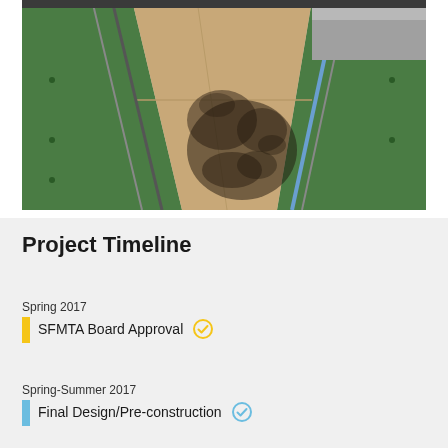[Figure (photo): Photo of a pedestrian walkway or ramp with green metal railings/walls and a concrete floor. Tree shadow visible on the ground. Transit station environment.]
Project Timeline
Spring 2017
SFMTA Board Approval ✓
Spring-Summer 2017
Final Design/Pre-construction ✓